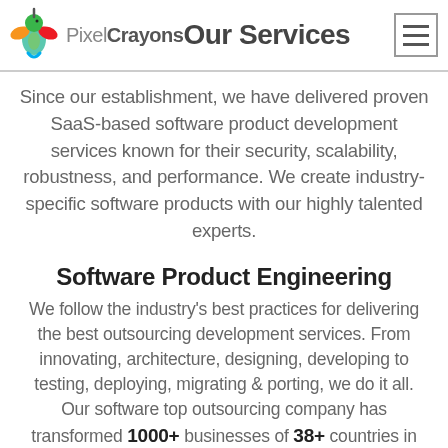PixelCrayons Our Services
Since our establishment, we have delivered proven SaaS-based software product development services known for their security, scalability, robustness, and performance. We create industry-specific software products with our highly talented experts.
Software Product Engineering
We follow the industry's best practices for delivering the best outsourcing development services. From innovating, architecture, designing, developing to testing, deploying, migrating & porting, we do it all.
Our software top outsourcing company has transformed 1000+ businesses of 38+ countries in their software product engineering initiatives.